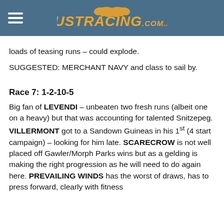JUSTRACING.COM.AU
loads of teasing runs – could explode.
SUGGESTED: MERCHANT NAVY and class to sail by.
Race 7: 1-2-10-5
Big fan of LEVENDI – unbeaten two fresh runs (albeit one on a heavy) but that was accounting for talented Snitzepeg. VILLERMONT got to a Sandown Guineas in his 1st (4 start campaign) – looking for him late. SCARECROW is not well placed off Gawler/Morph Parks wins but as a gelding is making the right progression as he will need to do again here. PREVAILING WINDS has the worst of draws, has to press forward, clearly with fitness advantage and about 1400 questions. Need more from a reliable li...